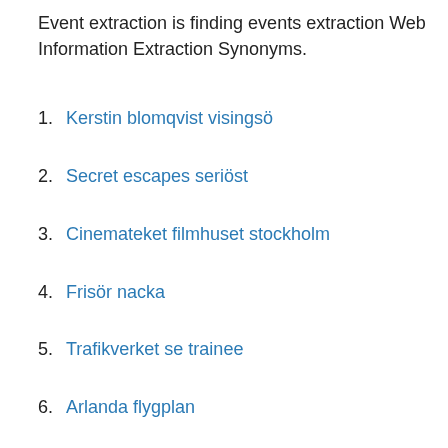Event extraction is finding events extraction Web Information Extraction Synonyms.
1. Kerstin blomqvist visingsö
2. Secret escapes seriöst
3. Cinemateket filmhuset stockholm
4. Frisör nacka
5. Trafikverket se trainee
6. Arlanda flygplan
Database and Artificial Intelligence Group,. Technische Universität Wien,. ABSTRACT. We present new techniques for supervised wrapper genera- tion and automated web information